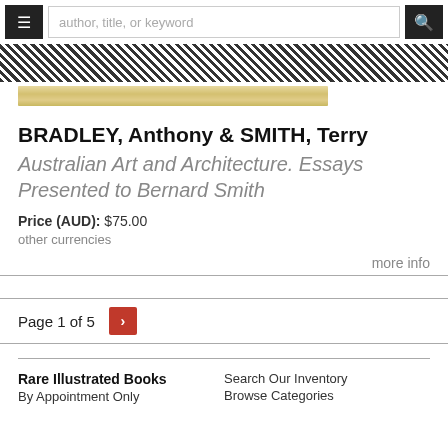author, title, or keyword
[Figure (illustration): Decorative repeating diamond/chevron pattern strip in dark and white, with a book spine image below in tan/gold color]
BRADLEY, Anthony & SMITH, Terry
Australian Art and Architecture. Essays Presented to Bernard Smith
Price (AUD): $75.00
other currencies
more info
Page 1 of 5
Rare Illustrated Books | By Appointment Only | Search Our Inventory | Browse Categories